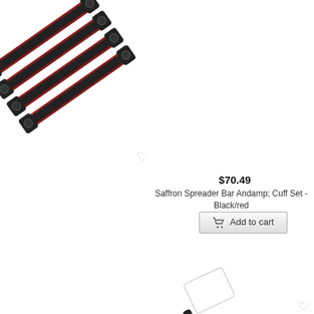[Figure (photo): Black and red spreader bar and cuff set product photo, showing multiple restraint bars with cuffs arranged diagonally]
$70.49
Saffron Spreader Bar Andamp; Cuff Set - Black/red
[Figure (photo): Black paddle with clear/transparent rectangular head product photo]